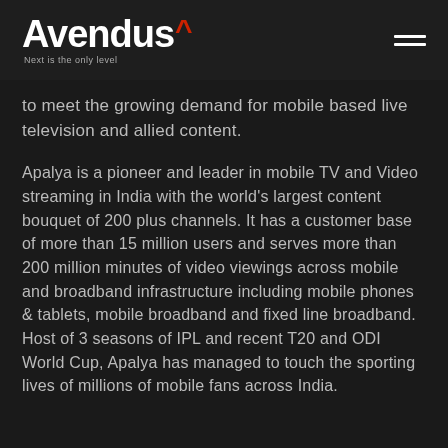Avendus — Next is the only level
to meet the growing demand for mobile based live television and allied content.
Apalya is a pioneer and leader in mobile TV and Video streaming in India with the world's largest content bouquet of 200 plus channels. It has a customer base of more than 15 million users and serves more than 200 million minutes of video viewings across mobile and broadband infrastructure including mobile phones & tablets, mobile broadband and fixed line broadband. Host of 3 seasons of IPL and recent T20 and ODI World Cup, Apalya has managed to touch the sporting lives of millions of mobile fans across India.